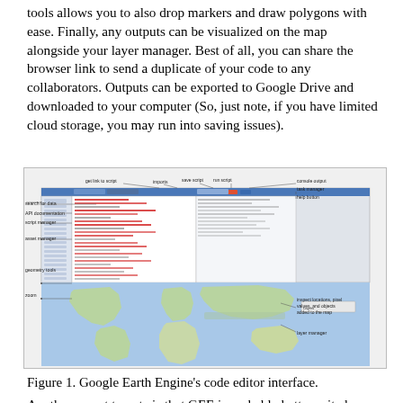tools allows you to also drop markers and draw polygons with ease. Finally, any outputs can be visualized on the map alongside your layer manager. Best of all, you can share the browser link to send a duplicate of your code to any collaborators. Outputs can be exported to Google Drive and downloaded to your computer (So, just note, if you have limited cloud storage, you may run into saving issues).
[Figure (screenshot): Screenshot of Google Earth Engine's code editor interface showing the code editor with labeled parts: search for data, API documentation, script manager, asset manager, geometry tools, zoom, get link to script, imports, save script, run script, console output, task manager, help button, inspect locations pixel values and objects added to the map, layer manager. The bottom half shows a world map.]
Figure 1. Google Earth Engine's code editor interface.
Another aspect to note is that GEE is probably better suited